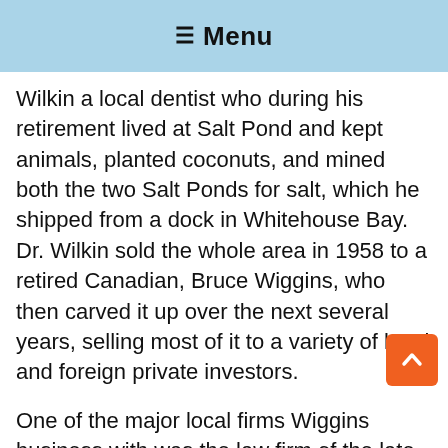≡ Menu
Wilkin a local dentist who during his retirement lived at Salt Pond and kept animals, planted coconuts, and mined both the two Salt Ponds for salt, which he shipped from a dock in Whitehouse Bay.  Dr. Wilkin sold the whole area in 1958 to a retired Canadian, Bruce Wiggins, who then carved it up over the next several years, selling most of it to a variety of local and foreign private investors.
One of the major local firms Wiggins business with was the law firm of the late Fred Kolick QC and his t...